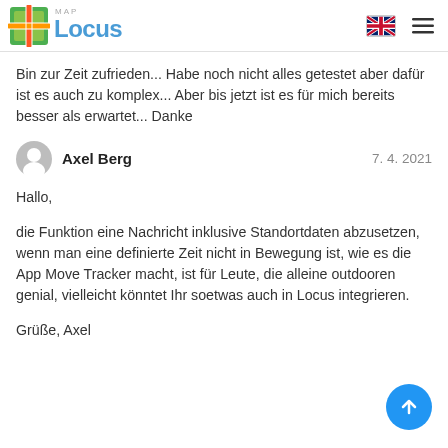Locus Map
Bin zur Zeit zufrieden... Habe noch nicht alles getestet aber dafür ist es auch zu komplex... Aber bis jetzt ist es für mich bereits besser als erwartet... Danke
Axel Berg   7. 4. 2021
Hallo,

die Funktion eine Nachricht inklusive Standortdaten abzusetzen, wenn man eine definierte Zeit nicht in Bewegung ist, wie es die App Move Tracker macht, ist für Leute, die alleine outdooren genial, vielleicht könntet Ihr soetwas auch in Locus integrieren.

Grüße, Axel